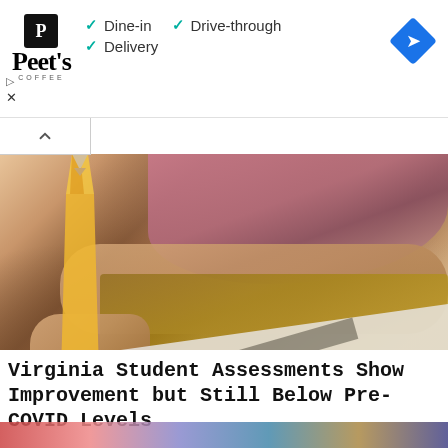[Figure (screenshot): Peet's Coffee advertisement banner showing logo, checkmarks for Dine-in, Drive-through, and Delivery options, and a blue navigation diamond icon]
[Figure (photo): Close-up photograph of a student writing on paper with a pencil, taken from a low angle showing hand gripping pencil and paper on a wooden desk, with a blurred student in background]
Virginia Student Assessments Show Improvement but Still Below Pre-COVID Levels
[Figure (photo): Partial view of another article's image at the bottom of the page]